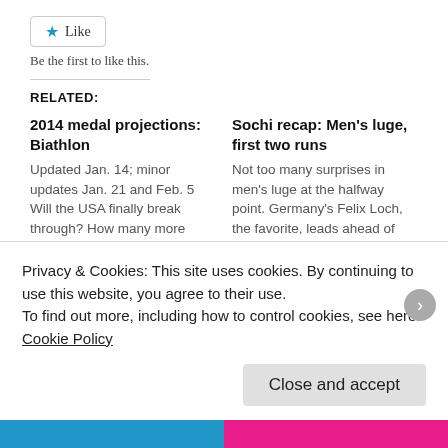[Figure (other): Like button with blue star icon]
Be the first to like this.
RELATED:
2014 medal projections: Biathlon
Updated Jan. 14; minor updates Jan. 21 and Feb. 5 Will the USA finally break through? How many more targets will Ole Einar
October 28, 2013
In "medal projections"
Sochi recap: Men's luge, first two runs
Not too many surprises in men's luge at the halfway point. Germany's Felix Loch, the favorite, leads ahead of ageless Russian Albert
February 8, 2014
In "olympic sports"
2014 medal projections:
Privacy & Cookies: This site uses cookies. By continuing to use this website, you agree to their use.
To find out more, including how to control cookies, see here: Cookie Policy
Close and accept